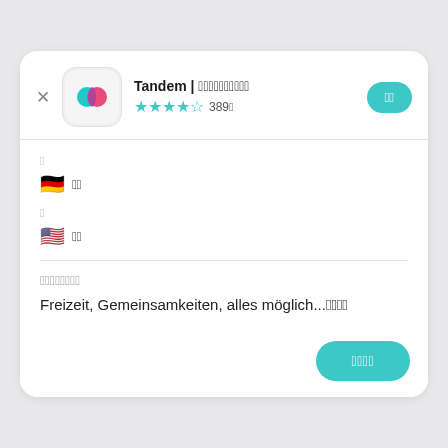Tandem | 언어교환 파트너 찾기
★★★★☆ 389개
배우고 싶은 언어
🇩🇪 독일어
모국어
🇺🇸 영어
관심사
Freizeit, Gemeinsamkeiten, alles möglich...더보기
대화 시작하기